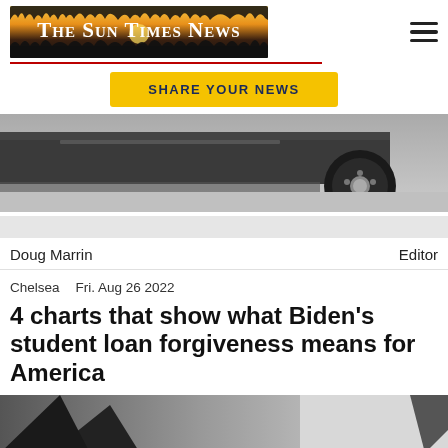The Sun Times News
SHARE YOUR NEWS
[Figure (photo): Close-up photo of the underside and rear tire of a dark vehicle on pavement]
Doug Marrin   Editor
Chelsea   Fri. Aug 26 2022
4 charts that show what Biden's student loan forgiveness means for America
[Figure (photo): Partially visible photo at bottom of page, appears to show a dark angled structure against a light sky]